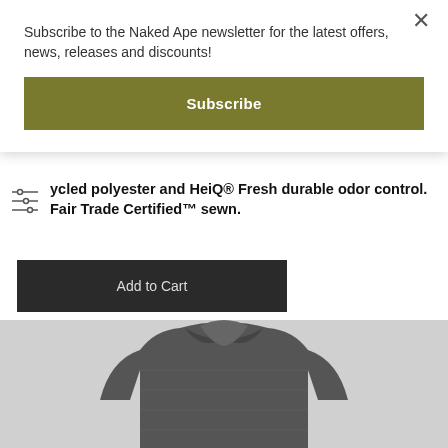Subscribe to the Naked Ape newsletter for the latest offers, news, releases and discounts!
Subscribe
ycled polyester and HeiQ® Fresh durable odor control. Fair Trade Certified™ sewn.
Add to Cart
[Figure (photo): Product photo of a dark grey quilted jacket, showing the collar and upper chest area.]